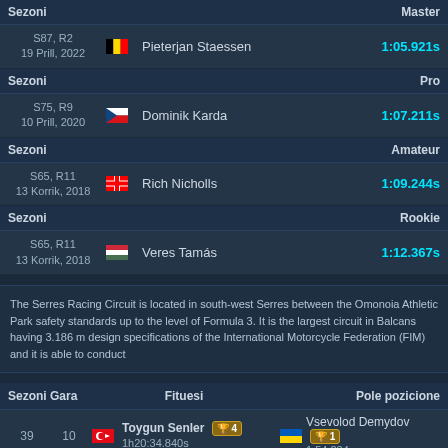| Sezoni |  |  | Master |
| --- | --- | --- | --- |
| S87, R2
19 Prill, 2022 | [BE flag] | Pieterjan Staessen | 1:05.921s |
| Sezoni |  |  | Pro |
| --- | --- | --- | --- |
| S75, R9
10 Prill, 2020 | [CZ flag] | Dominik Karda | 1:07.211s |
| Sezoni |  |  | Amateur |
| --- | --- | --- | --- |
| S65, R11
13 Korrik, 2018 | [CA flag] | Rich Nicholls | 1:09.244s |
| Sezoni |  |  | Rookie |
| --- | --- | --- | --- |
| S65, R11
13 Korrik, 2018 | [HU flag] | Veres Tamás | 1:12.367s |
The Serres Racing Circuit is located in south-west Serres between the Omonoia Athletic Park safety standards up to the level of Formula 3. It is the largest circuit in Balcans having 3.186 m design specifications of the International Motorcycle Federation (FIM) and it is able to conduct
| Sezoni | Gara | Fituesi | Pole pozicione |
| --- | --- | --- | --- |
| 39 | 10 | Toygun Senler 🏆4
1h20:34.840s | Vsevolod Demydov 🏆1
1:54.234s |
| 41 | 13 | Vsevolod Demydov 🏆2
1h19:45.091s | Stas Prost
1:54.052s |
| 42 | Pist Testi | Total test laps: 1867092
Your test laps: ??? | - |
| 44 | 5 | Leandro Sereno 🏆6
1h19:43.998s | Roland Postle
1:53.352s |
| 46 | 3 | Daniel Cornalada
1h20:04.599s | Stefan Gommans
1:53.769s |